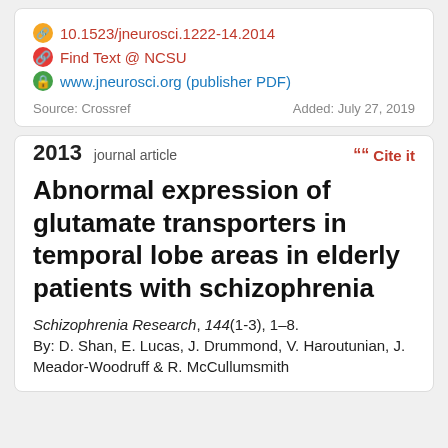10.1523/jneurosci.1222-14.2014
Find Text @ NCSU
www.jneurosci.org (publisher PDF)
Source: Crossref   Added: July 27, 2019
2013 journal article
Abnormal expression of glutamate transporters in temporal lobe areas in elderly patients with schizophrenia
Schizophrenia Research, 144(1-3), 1–8.
By: D. Shan, E. Lucas, J. Drummond, V. Haroutunian, J. Meador-Woodruff & R. McCullumsmith